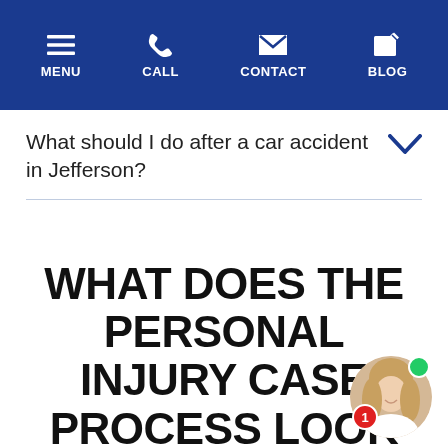MENU | CALL | CONTACT | BLOG
What should I do after a car accident in Jefferson?
WHAT DOES THE PERSONAL INJURY CASE PROCESS LOOK LIKE IN JEFFERSON?
[Figure (photo): Chat avatar: woman with blonde hair smiling, with green online indicator dot and red notification badge showing '1']